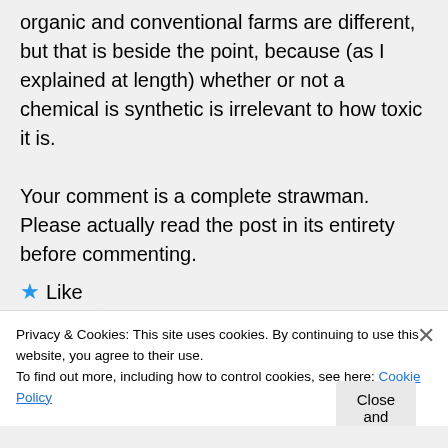organic and conventional farms are different, but that is beside the point, because (as I explained at length) whether or not a chemical is synthetic is irrelevant to how toxic it is.
Your comment is a complete strawman. Please actually read the post in its entirety before commenting.
★ Like
👍 21 👎 3 ℹ Rate This
Privacy & Cookies: This site uses cookies. By continuing to use this website, you agree to their use.
To find out more, including how to control cookies, see here: Cookie Policy